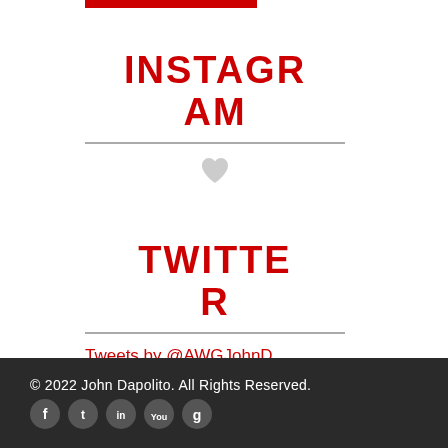INSTAGRAM
[Figure (illustration): Heart/like icon in gray]
TWITTER
Tweets by @AWGJohnDapolito
© 2022 John Dapolito. All Rights Reserved.